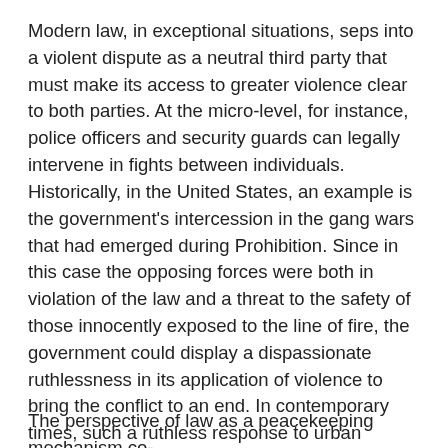Modern law, in exceptional situations, seps into a violent dispute as a neutral third party that must make its access to greater violence clear to both parties. At the micro-level, for instance, police officers and security guards can legally intervene in fights between individuals. Historically, in the United States, an example is the government's intercession in the gang wars that had emerged during Prohibition. Since in this case the opposing forces were both in violation of the law and a threat to the safety of those innocently exposed to the line of fire, the government could display a dispassionate ruthlessness in its application of violence to bring the conflict to an end. In contemporary times, such a ruthless response to urban disorders and other forms of violence is at times similarly advocated by policymakers and the public alike. Recent noteworthy examples include the application of the Insurrection Act by then President G.H. Bush to send state guards, federal law enforcement, and members of the US military to intervene in the L.A. riots of 1992 and the interventions by agents from several federal law enforcement agencies during the urban unrests of 2020.
The perspective of law as a peacekeeping mechanism co-